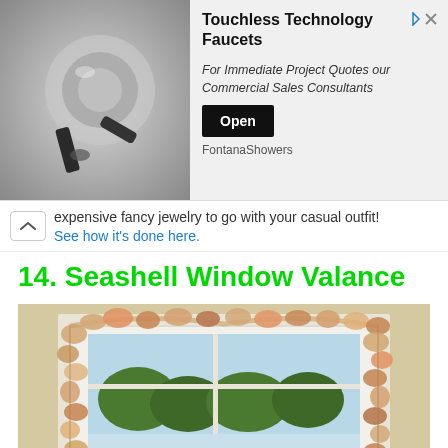[Figure (screenshot): Ad banner for Touchless Technology Faucets by FontanaShowers with a photo of a faucet on the left]
expensive fancy jewelry to go with your casual outfit!
See how it's done here.
14. Seashell Window Valance
[Figure (photo): Photo of a window decorated with a seashell valance/garland draped along the top and sides of the window frame]